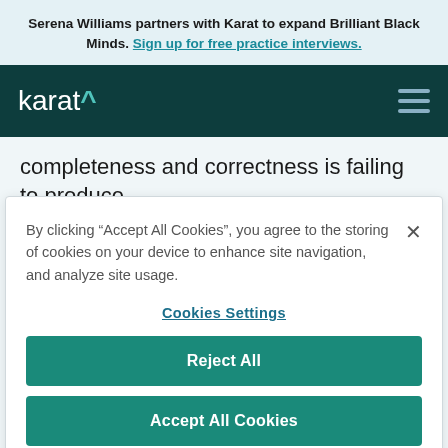Serena Williams partners with Karat to expand Brilliant Black Minds. Sign up for free practice interviews.
[Figure (logo): Karat navigation bar with teal caret logo on dark green background and hamburger menu icon]
completeness and correctness is failing to produce
By clicking “Accept All Cookies”, you agree to the storing of cookies on your device to enhance site navigation, and analyze site usage.
Cookies Settings
Reject All
Accept All Cookies